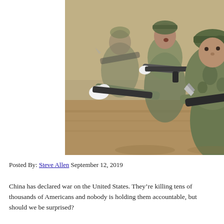[Figure (photo): Soldiers in camouflage uniforms holding rifles with bayonets, wearing white gloves, advancing in a combat drill on sandy ground.]
Posted By: Steve Allen September 12, 2019
China has declared war on the United States. They’re killing tens of thousands of Americans and nobody is holding them accountable, but should we be surprised?